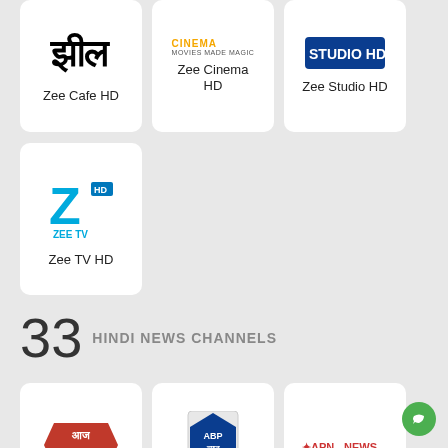[Figure (logo): Zee Cafe HD logo (partial, top)]
Zee Cafe HD
[Figure (logo): Zee Cinema HD logo]
Zee Cinema HD
[Figure (logo): Zee Studio HD logo (partial, top)]
Zee Studio HD
[Figure (logo): Zee TV HD logo]
Zee TV HD
33 HINDI NEWS CHANNELS
[Figure (logo): Aaj Tak logo (red Hindi text on red background)]
Aaj Tak*
[Figure (logo): ABP News logo]
ABP News*
[Figure (logo): APN News logo]
APN NEWS
[Figure (logo): CNBC Awaaz logo]
CNBC Awaaz
[Figure (logo): CNBC Bajar logo]
CNBC Bajar
[Figure (logo): DD News logo]
DD News*